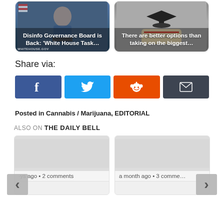[Figure (screenshot): Two article thumbnail cards side by side. Left card shows a woman at a podium with US flag, with title 'Disinfo Governance Board is Back: White House Task…'. Right card shows a graduation cap and diploma with title 'There are better options than taking on the biggest…'.]
Share via:
[Figure (infographic): Four social share buttons in a row: Facebook (blue, f icon), Twitter (light blue, bird icon), Reddit (orange, alien icon), Email (dark, envelope icon)]
Posted in Cannabis / Marijuana, EDITORIAL
ALSO ON THE DAILY BELL
[Figure (screenshot): Two article preview cards side by side with navigation arrows. Left card shows gray placeholder image with '·ys ago • 2 comments'. Right card shows gray placeholder image with 'a month ago • 3 comme…'. Left arrow on left edge, right arrow on right edge.]